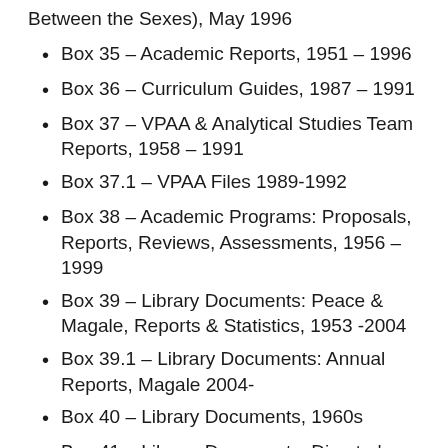Between the Sexes), May 1996
Box 35 – Academic Reports, 1951 – 1996
Box 36 – Curriculum Guides, 1987 – 1991
Box 37 – VPAA & Analytical Studies Team Reports, 1958 – 1991
Box 37.1 – VPAA Files 1989-1992
Box 38 – Academic Programs: Proposals, Reports, Reviews, Assessments, 1956 – 1999
Box 39 – Library Documents: Peace & Magale, Reports & Statistics, 1953 -2004
Box 39.1 – Library Documents: Annual Reports, Magale 2004-
Box 40 – Library Documents, 1960s
Box 41 – Library Documents: Director's Memos, Minutes, Manuals, Policies, 1952